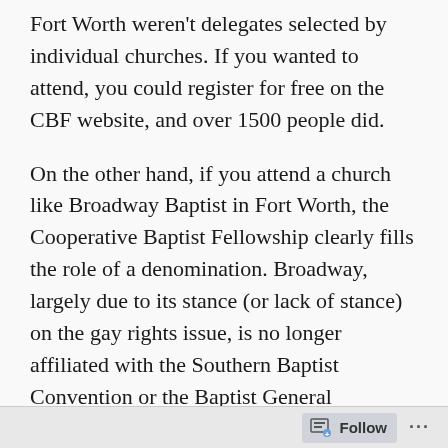Fort Worth weren't delegates selected by individual churches.  If you wanted to attend, you could register for free on the CBF website, and over 1500 people did.
On the other hand, if you attend a church like Broadway Baptist in Fort Worth, the Cooperative Baptist Fellowship clearly fills the role of a denomination.  Broadway, largely due to its stance (or lack of stance) on the gay rights issue, is no longer affiliated with the Southern Baptist Convention or the Baptist General Convention of Texas.  For us, the CBF serves as a denomination.
Follow ...